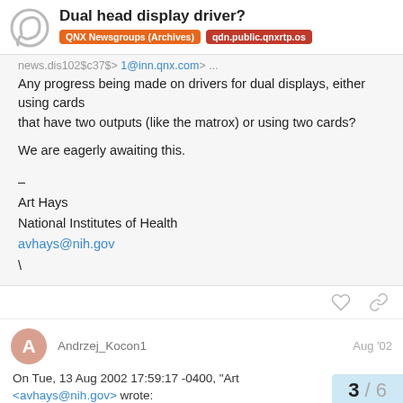Dual head display driver? | QNX Newsgroups (Archives) | qdn.public.qnxrtp.os
news.dis102$c37$> 1@inn.qnx.com> ...
Any progress being made on drivers for dual displays, either using cards
that have two outputs (like the matrox) or using two cards?

We are eagerly awaiting this.

–
Art Hays
National Institutes of Health
avhays@nih.gov
\
Andrzej_Kocon1  Aug '02
On Tue, 13 Aug 2002 17:59:17 -0400, "Art
<avhays@nih.gov> wrote: